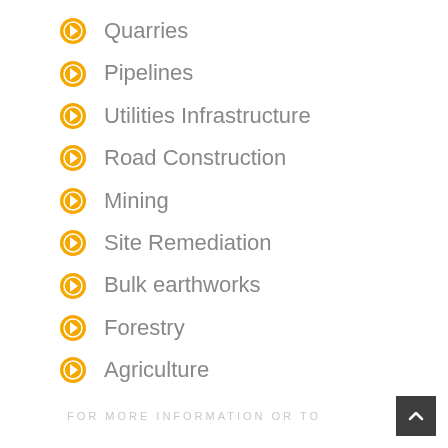Quarries
Pipelines
Utilities Infrastructure
Road Construction
Mining
Site Remediation
Bulk earthworks
Forestry
Agriculture
FOR MORE INFORMATION OR TO